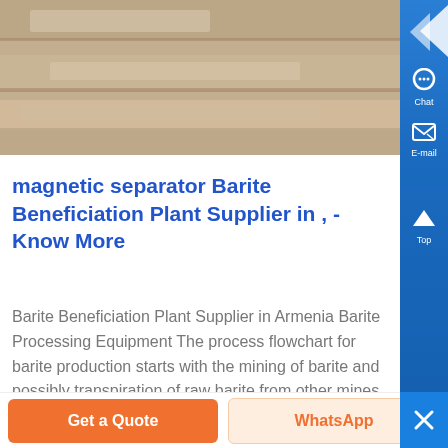[Figure (photo): Photo of barite mineral or industrial materials stacked, tan/brown colored stones or blocks]
magnetic separator Barite Beneficiation Plant Supplier in , - Know More
Barite Beneficiation Plant Supplier in Armenia Barite Processing Equipment The process flowchart for barite production starts with the mining of barite and possibly transpiration of raw barite from other mines to thefactory site to supplement local production...